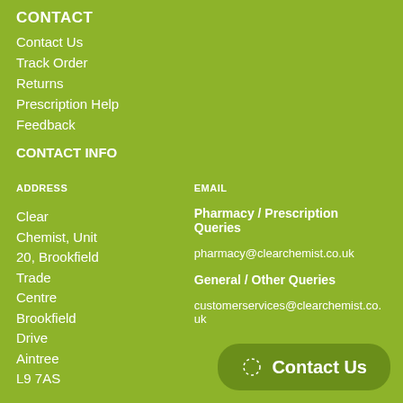CONTACT
Contact Us
Track Order
Returns
Prescription Help
Feedback
CONTACT INFO
ADDRESS
EMAIL
Clear Chemist, Unit 20, Brookfield Trade Centre Brookfield Drive Aintree L9 7AS
Pharmacy / Prescription Queries
pharmacy@clearchemist.co.uk
General / Other Queries
customerservices@clearchemist.co.uk
Contact Us